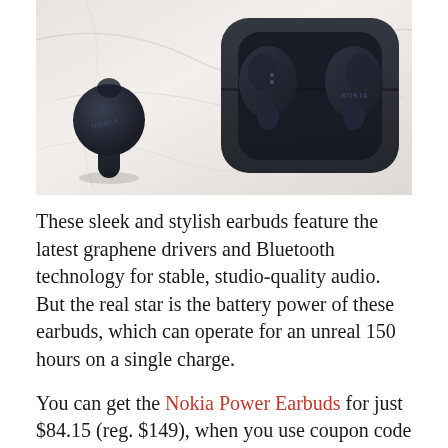[Figure (photo): Nokia Power Earbuds and charging case photographed on a white marble surface. One earbud is out of the case on the left, and the open charging case with two earbuds inside is on the right. All items are dark navy/black colored with Nokia branding.]
These sleek and stylish earbuds feature the latest graphene drivers and Bluetooth technology for stable, studio-quality audio. But the real star is the battery power of these earbuds, which can operate for an unreal 150 hours on a single charge.
You can get the Nokia Power Earbuds for just $84.15 (reg. $149), when you use coupon code ANNUAL15 at checkout.